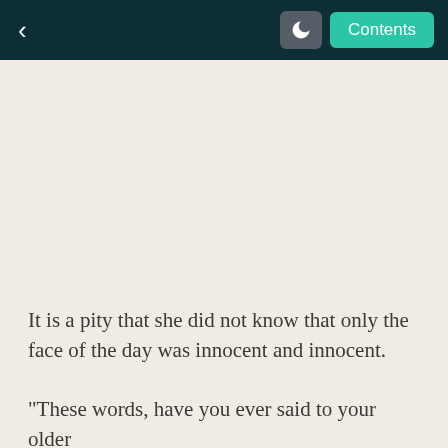< Contents
It is a pity that she did not know that only the face of the day was innocent and innocent.
"These words, have you ever said to your older